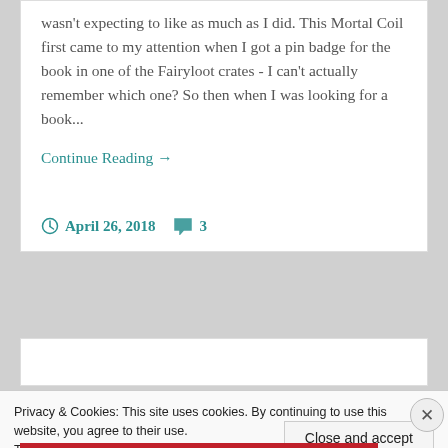wasn't expecting to like as much as I did. This Mortal Coil first came to my attention when I got a pin badge for the book in one of the Fairyloot crates - I can't actually remember which one? So then when I was looking for a book...
Continue Reading →
April 26, 2018   3
Privacy & Cookies: This site uses cookies. By continuing to use this website, you agree to their use.
To find out more, including how to control cookies, see here: Cookie Policy
Close and accept